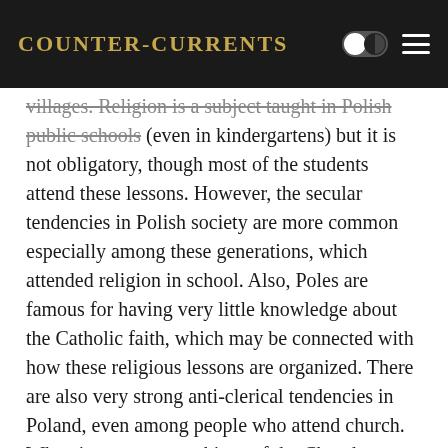Counter-Currents
villages. Religion is a subject taught in Polish public schools (even in kindergartens) but it is not obligatory, though most of the students attend these lessons. However, the secular tendencies in Polish society are more common especially among these generations, which attended religion in school. Also, Poles are famous for having very little knowledge about the Catholic faith, which may be connected with how these religious lessons are organized. There are also very strong anti-clerical tendencies in Poland, even among people who attend church. When it comes to teachings of the Church on such issues as sexuality, contraception, marriage and divorce, or abortion, the vast majority of Catholics in Poland do not agree with the church.
The case of Polish nationalism is also not so obvious, as the early Polish nationalists (the national democrats) were